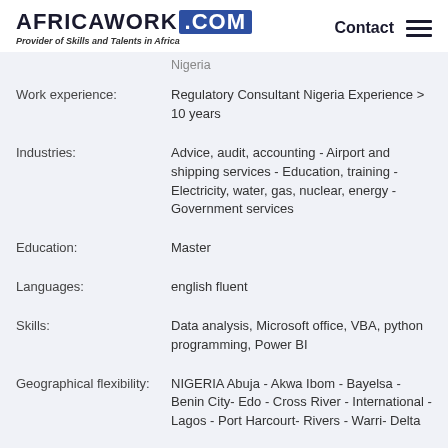AFRICAWORK .COM — Provider of Skills and Talents in Africa | Contact
Nigeria
Work experience: Regulatory Consultant Nigeria Experience > 10 years
Industries: Advice, audit, accounting - Airport and shipping services - Education, training - Electricity, water, gas, nuclear, energy - Government services
Education: Master
Languages: english fluent
Skills: Data analysis, Microsoft office, VBA, python programming, Power BI
Geographical flexibility: NIGERIA Abuja - Akwa Ibom - Bayelsa - Benin City- Edo - Cross River - International - Lagos - Port Harcourt- Rivers - Warri- Delta